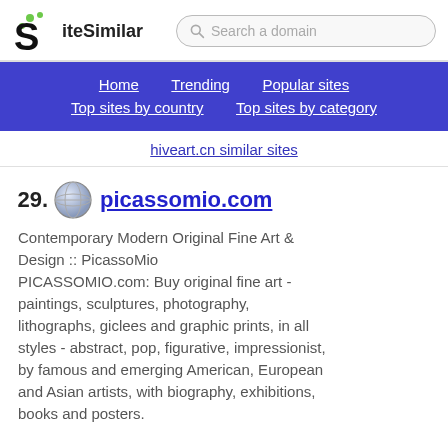SiteSimilar | Search a domain
Home | Trending | Popular sites | Top sites by country | Top sites by category
hiveart.cn similar sites
29. picassomio.com — Contemporary Modern Original Fine Art & Design :: PicassoMio PICASSOMIO.com: Buy original fine art - paintings, sculptures, photography, lithographs, giclees and graphic prints, in all styles - abstract, pop, figurative, impressionist, by famous and emerging American, European and Asian artists, with biography, exhibitions, books and posters.